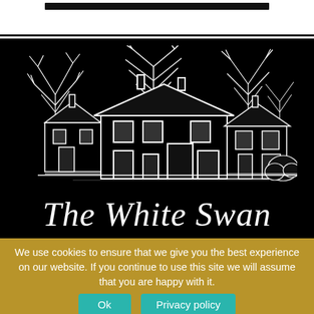[Figure (illustration): Black background with white hand-drawn sketch of a traditional English country inn building with trees, and cursive text reading 'The White Swan' below the illustration]
We use cookies to ensure that we give you the best experience on our website. If you continue to use this site we will assume that you are happy with it.
Ok   Privacy policy